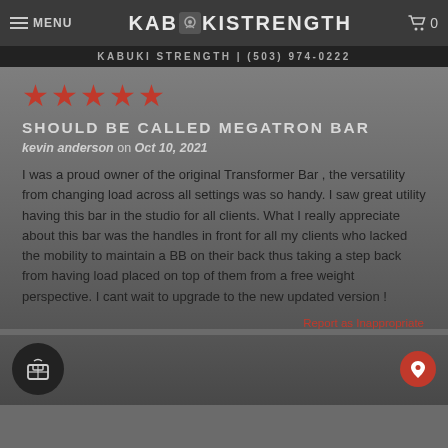MENU  KABUKI STRENGTH  0
KABUKI STRENGTH | (503) 974-0222
[Figure (other): Five red star rating icons]
SHOULD BE CALLED MEGATRON BAR
kevin anderson on Oct 10, 2021
I was a proud owner of the original Transformer Bar , the versatility from changing load across all settings was so handy. I saw great utility having this bar in the studio for all clients. What I really appreciate about this bar was the handles in front for all my clients who lacked the mobility to maintain a BB on their back thus taking a step back from having load placed on top of them from a free weight perspective. I cant wait to upgrade to the new updated version !
Report as Inappropriate